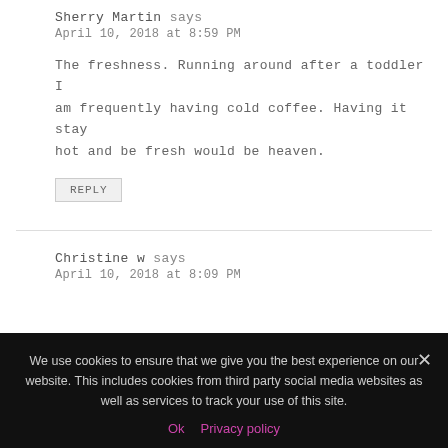Sherry Martin says
April 10, 2018 at 8:59 PM
The freshness. Running around after a toddler I am frequently having cold coffee. Having it stay hot and be fresh would be heaven.
REPLY
Christine w says
April 10, 2018 at 8:09 PM
We use cookies to ensure that we give you the best experience on our website. This includes cookies from third party social media websites as well as services to track your use of this site.
Ok   Privacy policy